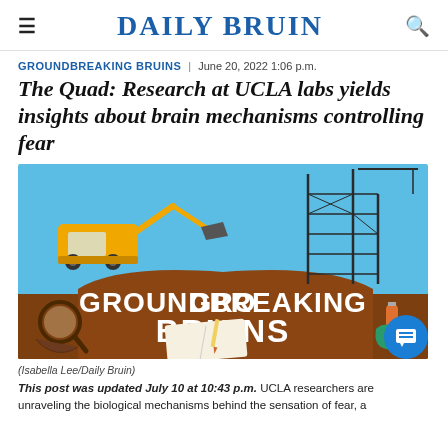DAILY BRUIN
GROUNDBREAKING BRUINS | June 20, 2022 1:06 p.m.
The Quad: Research at UCLA labs yields insights about brain mechanisms controlling fear
[Figure (illustration): Illustrated banner for 'Groundbreaking Bruins' series showing a construction site with excavator and crane in background, with hands holding a magnifying glass, notebook, and test tube in foreground, text reads GROUNDBREAKING BRUINS]
(Isabella Lee/Daily Bruin)
This post was updated July 10 at 10:43 p.m. UCLA researchers are unraveling the biological mechanisms behind the sensation of fear, a